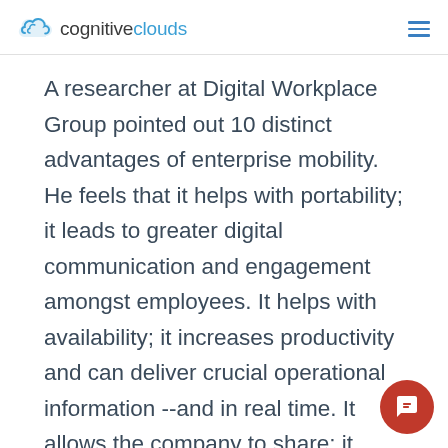cognitiveclouds
A researcher at Digital Workplace Group pointed out 10 distinct advantages of enterprise mobility. He feels that it helps with portability; it leads to greater digital communication and engagement amongst employees. It helps with availability; it increases productivity and can deliver crucial operational information --and in real time. It allows the company to share; it improves customer service and encourages learning and the transfer of knowledge.